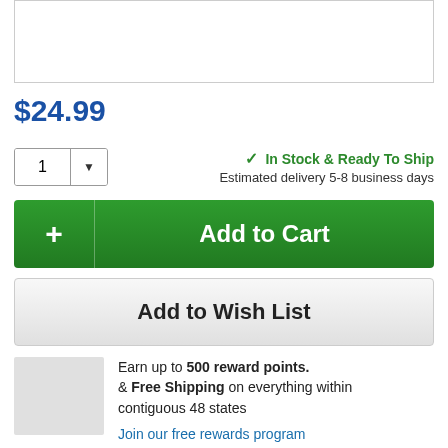[Figure (other): Product image placeholder box (white rectangle with border)]
$24.99
1 ▼  ✓ In Stock & Ready To Ship  Estimated delivery 5-8 business days
+ Add to Cart
Add to Wish List
Earn up to 500 reward points. & Free Shipping on everything within contiguous 48 states
Join our free rewards program